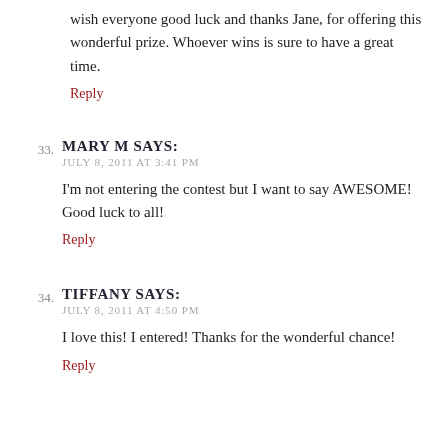wish everyone good luck and thanks Jane, for offering this wonderful prize. Whoever wins is sure to have a great time.
Reply
33. MARY M SAYS:
JULY 8, 2011 AT 3:41 PM
I'm not entering the contest but I want to say AWESOME! Good luck to all!
Reply
34. TIFFANY SAYS:
JULY 8, 2011 AT 4:50 PM
I love this! I entered! Thanks for the wonderful chance!
Reply